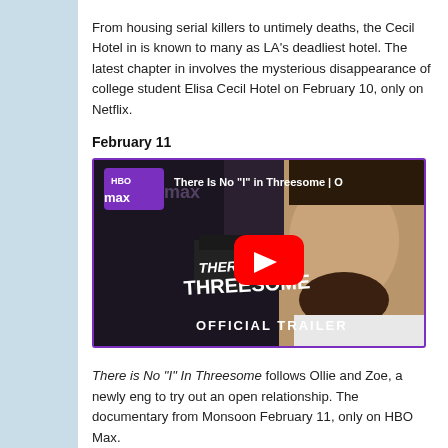From housing serial killers to untimely deaths, the Cecil Hotel in is known to many as LA's deadliest hotel. The latest chapter in involves the mysterious disappearance of college student Elisa Cecil Hotel on February 10, only on Netflix.
February 11
[Figure (screenshot): YouTube video thumbnail for 'There Is No "I" in Threesome | Official Trailer' on HBO Max. Shows HBO Max logo, title text, man smiling, red YouTube play button, and text: THERE IS NO "I" IN THREESOME, OFFICIAL TRAILER.]
There is No "I" In Threesome follows Ollie and Zoe, a newly eng to try out an open relationship. The documentary from Monsoon February 11, only on HBO Max.